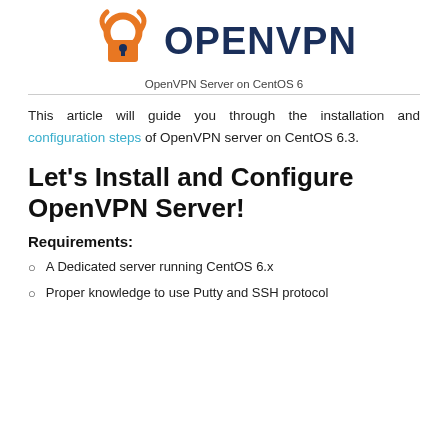[Figure (logo): OpenVPN logo with orange lock icon and dark blue text]
OpenVPN Server on CentOS 6
This article will guide you through the installation and configuration steps of OpenVPN server on CentOS 6.3.
Let’s Install and Configure OpenVPN Server!
Requirements:
A Dedicated server running CentOS 6.x
Proper knowledge to use Putty and SSH protocol